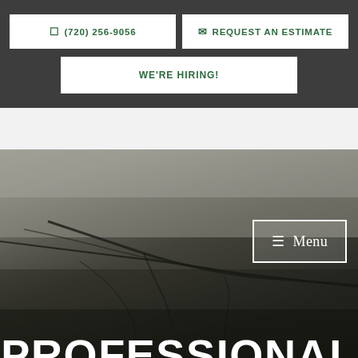☎ (720) 256-9056
✉ REQUEST AN ESTIMATE
WE'RE HIRING!
[Figure (photo): Close-up photo of cracked old asphalt or roofing material, dark textured surface filling the lower portion of the page]
≡ Menu
PROFESSIONAL